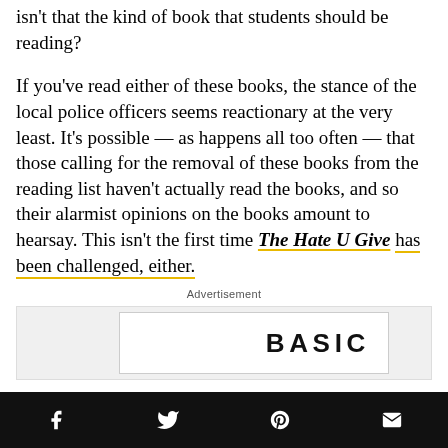isn't that the kind of book that students should be reading?
If you've read either of these books, the stance of the local police officers seems reactionary at the very least. It's possible — as happens all too often — that those calling for the removal of these books from the reading list haven't actually read the books, and so their alarmist opinions on the books amount to hearsay. This isn't the first time The Hate U Give has been challenged, either.
Advertisement
[Figure (other): Advertisement banner showing the word BASIC in bold spaced letters on a white background within a gray ad box]